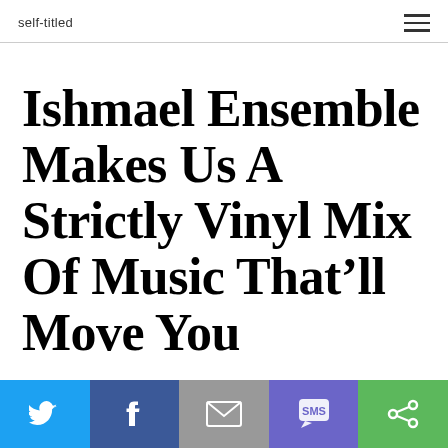self-titled
Ishmael Ensemble Makes Us A Strictly Vinyl Mix Of Music That'll Move You
[Figure (infographic): Social sharing bar with five buttons: Twitter (blue), Facebook (dark blue), Email (gray), SMS (purple), Share/republish (green)]